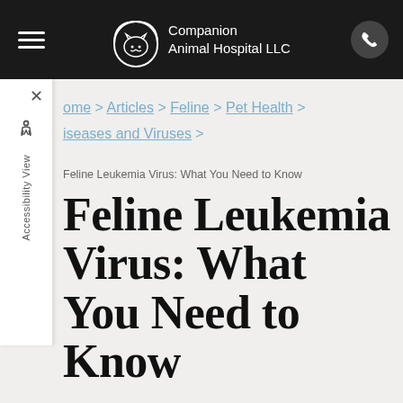Companion Animal Hospital LLC
Home > Articles > Feline > Pet Health > Diseases and Viruses >
Feline Leukemia Virus: What You Need to Know
Feline Leukemia Virus: What You Need to Know